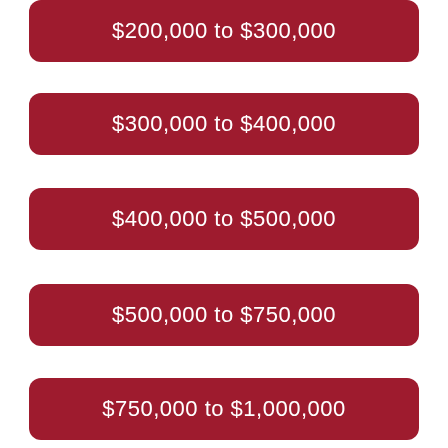$200,000 to $300,000
$300,000 to $400,000
$400,000 to $500,000
$500,000 to $750,000
$750,000 to $1,000,000